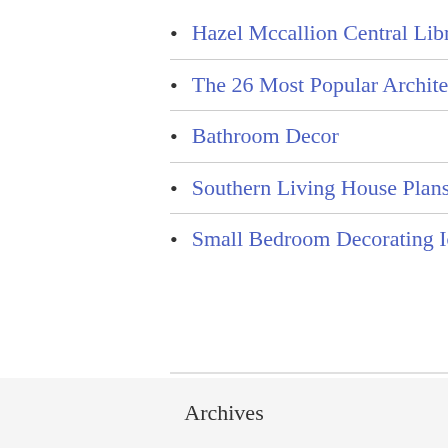Hazel Mccallion Central Library Renovation
The 26 Most Popular Architectural Residence Kinds & Exteriors
Bathroom Decor
Southern Living House Plans
Small Bedroom Decorating Ideas That You Are Going To Love
Archives